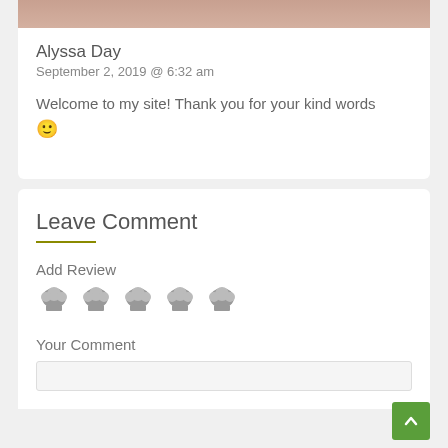[Figure (photo): Partial photo strip of a person at the top of the card]
Alyssa Day
September 2, 2019 @ 6:32 am
Welcome to my site! Thank you for your kind words 🙂
Leave Comment
Add Review
[Figure (other): Five grey chef hat icons for rating]
Your Comment